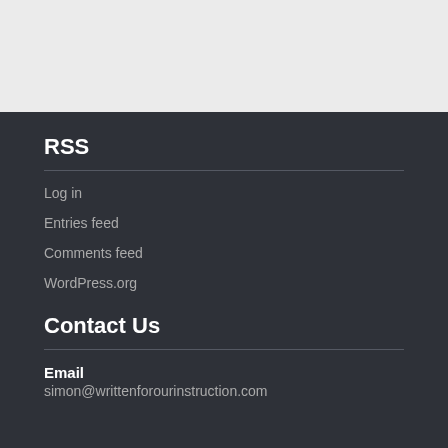RSS
Log in
Entries feed
Comments feed
WordPress.org
Contact Us
Email
simon@writtenforourinstruction.com